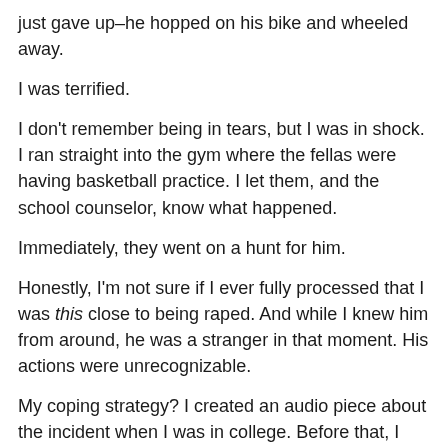just gave up–he hopped on his bike and wheeled away.
I was terrified.
I don't remember being in tears, but I was in shock. I ran straight into the gym where the fellas were having basketball practice. I let them, and the school counselor, know what happened.
Immediately, they went on a hunt for him.
Honestly, I'm not sure if I ever fully processed that I was this close to being raped. And while I knew him from around, he was a stranger in that moment. His actions were unrecognizable.
My coping strategy? I created an audio piece about the incident when I was in college. Before that, I performed the spoken word poem aloud during an open mic session at a coffeehouse near my mom's house in Michigan.